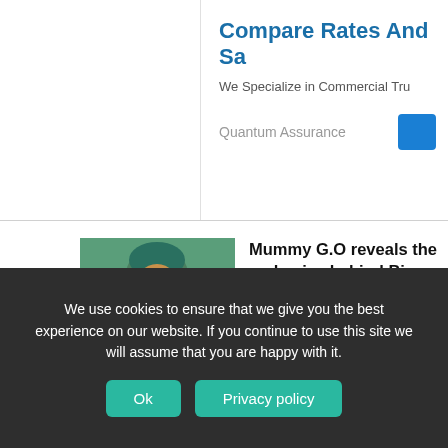Compare Rates And Sa
We Specialize in Commercial Tru
Quantum Assurance
[Figure (photo): Smiling woman wearing teal headwrap and dress, seated outdoors]
Mummy G.O reveals the real voice behind Big Brother Naija show (Video)
January 30, 2022
[Figure (photo): Beer mug and plate of fried chicken/food]
Top 12 hangout spots in Surulere and their locations
January 30, 2022
We use cookies to ensure that we give you the best experience on our website. If you continue to use this site we will assume that you are happy with it.
Ok
Privacy policy